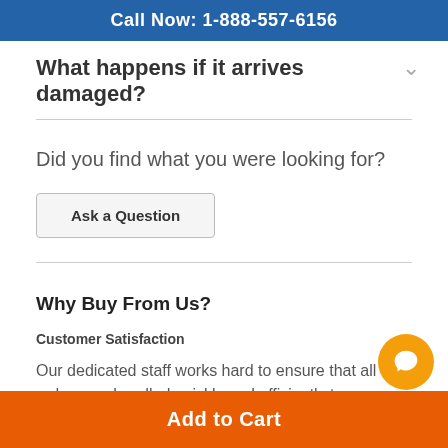Call Now: 1-888-557-6156
What happens if it arrives damaged?
Did you find what you were looking for?
Ask a Question
Why Buy From Us?
Customer Satisfaction
Our dedicated staff works hard to ensure that all orders are handled quickly and efficiently to ensure that you get what you ordered as quickly as possible.
Add to Cart